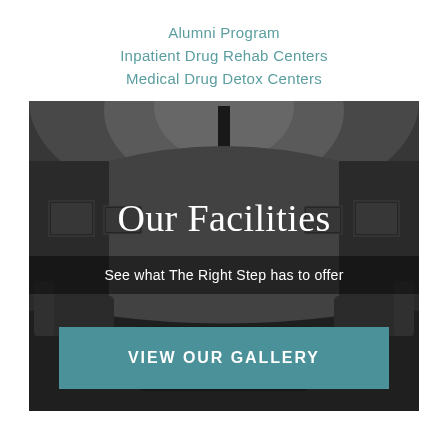Alumni Program
Inpatient Drug Rehab Centers
Medical Drug Detox Centers
[Figure (photo): Black and white interior photo of a treatment facility lounge/waiting room with chandelier, artwork on walls, and seating areas. Overlaid with text 'Our Facilities', 'See what The Right Step has to offer', and a 'VIEW OUR GALLERY' button.]